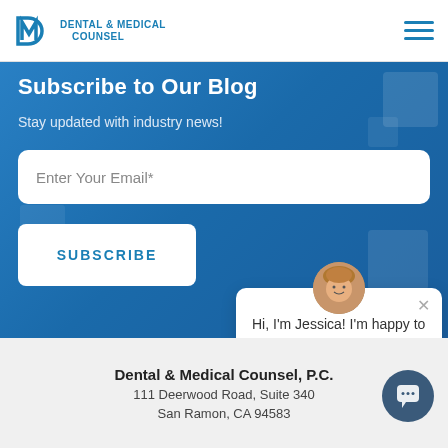[Figure (logo): Dental & Medical Counsel logo with stylized DM icon in blue]
Subscribe to Our Blog
Stay updated with industry news!
Enter Your Email*
SUBSCRIBE
[Figure (photo): Chat popup with avatar photo of woman (Jessica) and text: Hi, I'm Jessica! I'm happy to help.]
Hi, I'm Jessica! I'm happy to help.
Dental & Medical Counsel, P.C.
111 Deerwood Road, Suite 340
San Ramon, CA 94583